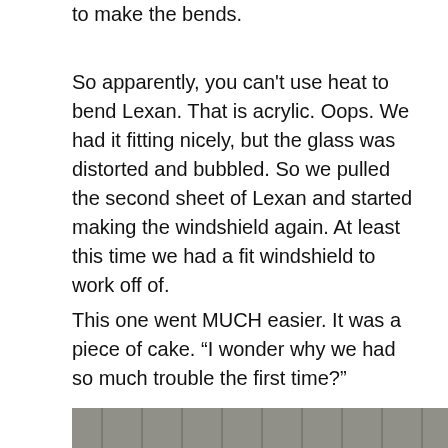to make the bends.
So apparently, you can't use heat to bend Lexan. That is acrylic. Oops. We had it fitting nicely, but the glass was distorted and bubbled. So we pulled the second sheet of Lexan and started making the windshield again. At least this time we had a fit windshield to work off of.
This one went MUCH easier. It was a piece of cake. “I wonder why we had so much trouble the first time?”
[Figure (photo): A young person in a white t-shirt leaning over a large table, writing or marking on a large sheet of material. In the background there is a corrugated metal wall. On the table there is a spray bottle and a sign. The table has an orange edge visible.]